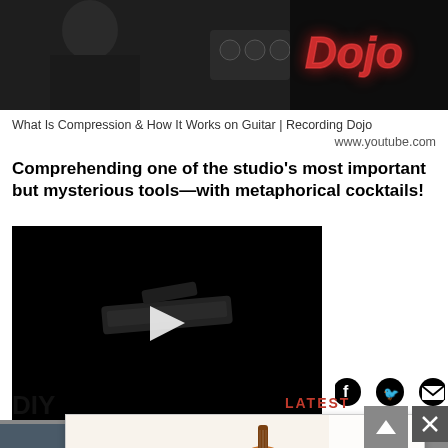[Figure (screenshot): Top image showing a person in black t-shirt with audio equipment, and glowing red neon 'Dojo' text on the right]
What Is Compression & How It Works on Guitar | Recording Dojo
www.youtube.com
Comprehending one of the studio's most important but mysterious tools—with metaphorical cocktails!
[Figure (screenshot): Embedded video player with black background showing a guitar slide/pedalboard object and a white play button triangle in center]
[Figure (infographic): Social share icons: Facebook circle, Twitter bird, Email envelope]
DIY
LATEST
[Figure (advertisement): Collings Guitars advertisement with script logo, acoustic guitar photo, and 'TAP FOR CUSTOM GALLERY' text. Austin Texas branding.]
[Figure (other): Close button X and up-arrow navigation button in grey]